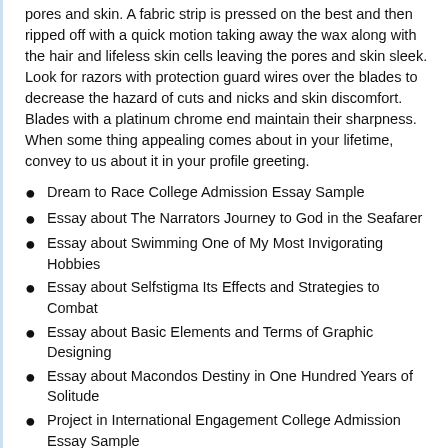pores and skin. A fabric strip is pressed on the best and then ripped off with a quick motion taking away the wax along with the hair and lifeless skin cells leaving the pores and skin sleek. Look for razors with protection guard wires over the blades to decrease the hazard of cuts and nicks and skin discomfort. Blades with a platinum chrome end maintain their sharpness. When some thing appealing comes about in your lifetime, convey to us about it in your profile greeting.
Dream to Race College Admission Essay Sample
Essay about The Narrators Journey to God in the Seafarer
Essay about Swimming One of My Most Invigorating Hobbies
Essay about Selfstigma Its Effects and Strategies to Combat
Essay about Basic Elements and Terms of Graphic Designing
Essay about Macondos Destiny in One Hundred Years of Solitude
Project in International Engagement College Admission Essay Sample
This is a great way to enable your on the internet good friends in on what it could possibly be like to really devote time with you.
Which is the primary aim of online courting isn't it to obtain finest college or university essays reddit persons you would finally like to satisfy and shell out time with deal with-to-facial area? Anyways, it really is normally extra exciting to listen to about a outrageous working experience you've just experienced than to read through the same aged descriptions of